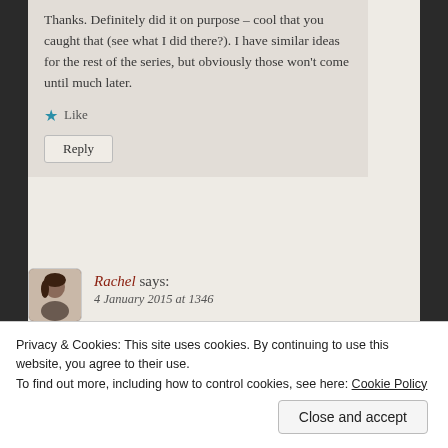Thanks. Definitely did it on purpose – cool that you caught that (see what I did there?). I have similar ideas for the rest of the series, but obviously those won't come until much later.
★ Like
Reply
Rachel says:
4 January 2015 at 1346
Glad I caught on! Great idea.
Privacy & Cookies: This site uses cookies. By continuing to use this website, you agree to their use.
To find out more, including how to control cookies, see here: Cookie Policy
Close and accept